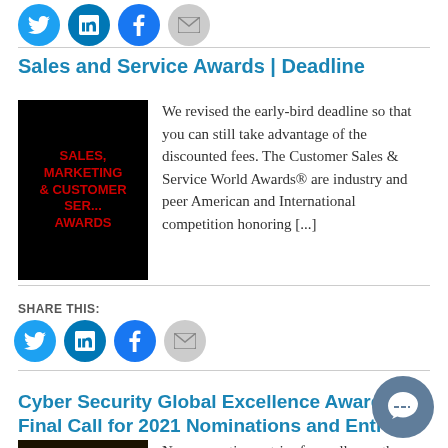[Figure (other): Social media share buttons row at top: Twitter (blue circle), LinkedIn (blue circle), Facebook (blue circle), Email (gray circle)]
Sales and Service Awards | Deadline
[Figure (other): Black image with red bold text: SALES, MARKETING CUSTOMER SERVICE AWARDS]
We revised the early-bird deadline so that you can still take advantage of the discounted fees. The Customer Sales & Service World Awards® are industry and peer American and International competition honoring [...]
SHARE THIS:
[Figure (other): Social media share buttons: Twitter (blue circle), LinkedIn (blue circle), Facebook (blue circle), Email (gray circle)]
Cyber Security Global Excellence Awards® Final Call for 2021 Nominations and Entries
[Figure (other): Dark image with orange text: Cyber Security Global]
Now accepting entries from all over the world for the 17th Annual 2021 Cyber